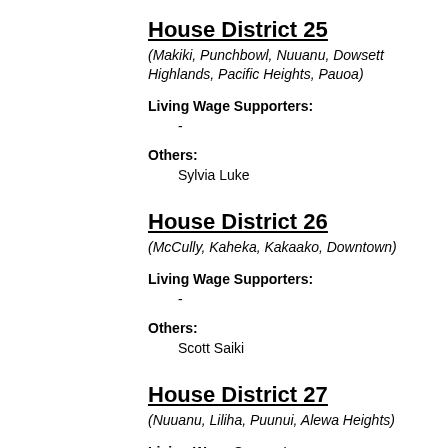House District 25
(Makiki, Punchbowl, Nuuanu, Dowsett Highlands, Pacific Heights, Pauoa)
Living Wage Supporters:
-
Others:
Sylvia Luke
House District 26
(McCully, Kaheka, Kakaako, Downtown)
Living Wage Supporters:
-
Others:
Scott Saiki
House District 27
(Nuuanu, Liliha, Puunui, Alewa Heights)
Living Wage Supporters: